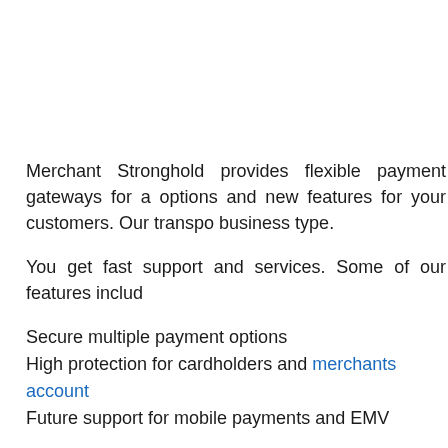Merchant Stronghold provides flexible payment gateways for a options and new features for your customers. Our transpo business type.
You get fast support and services. Some of our features includ
Secure multiple payment options
High protection for cardholders and merchants account
Future support for mobile payments and EMV
Our payment gateways for your Transportation services can experience. You can achieve your goal of a successful busines
Your first priority is to offer speedy payment system to custo easy for merchants to sell. You may be thinking that there a choose us? First, you have to understand few basic things abo
What is the main building block for online payment applic